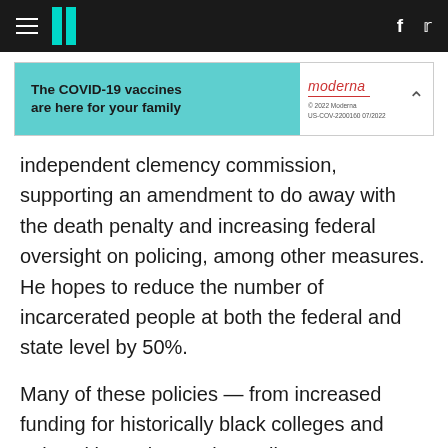HuffPost
[Figure (other): Moderna advertisement banner: 'The COVID-19 vaccines are here for your family' on teal background with Moderna logo and legal fine print]
independent clemency commission, supporting an amendment to do away with the death penalty and increasing federal oversight on policing, among other measures. He hopes to reduce the number of incarcerated people at both the federal and state level by 50%.
Many of these policies — from increased funding for historically black colleges and universities to increasing Pell grants, to abolishing private federal prisons and restoring voting rights to felons — are shared by most of the 2020 field